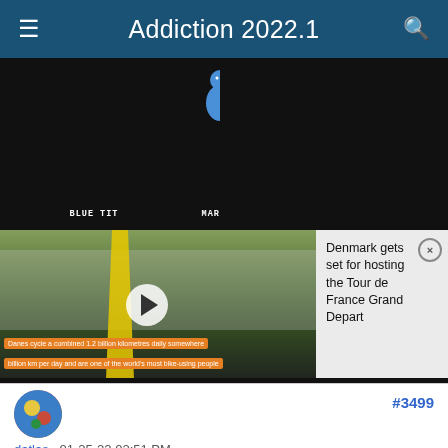Addiction 2022.1
[Figure (screenshot): Screenshot of a mobile forum/app page showing a black t-shirt with birds labeled BLUE TIT, MARSH TIT, CRESTED TIT, overlaid with a video player showing a street scene in Denmark with a news popup reading 'Denmark gets set for hosting the Tour de France Grand Depart' and a close button, plus orange caption bars at the bottom of the video.]
datlas , 01-25-22 02:51 PM
Beyond Bogus
The censor filter moves in mysterious ways.
#3499